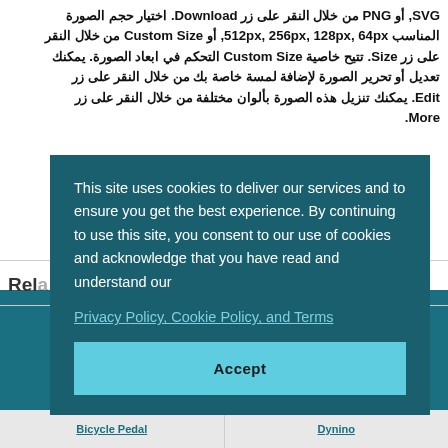SVG, أو PNG من خلال النقر على زر Download. اختيار حجم الصورة المناسب 512px, 256px, 128px, 64px, أو Custom Size من خلال النقر على زر Size. تتيح خاصية Custom Size التحكم في ابعاد الصورة. يمكنك تعديل أو تحرير الصورة لإضافة لمسة خاصة بك من خلال النقر على زر Edit. يمكنك تنزيل هذه الصورة بألوان مختلفة من خلال النقر على زر More.
Rel...
[Figure (screenshot): Cookie consent dialog overlay on a teal background webpage. Dialog reads: 'This site uses cookies to deliver our services and to ensure you get the best experience. By continuing to use this site, you consent to our use of cookies and acknowledge that you have read and understand our Privacy Policy, Cookie Policy, and Terms' with an Accept button.]
Bicycle Pedal | Dynino